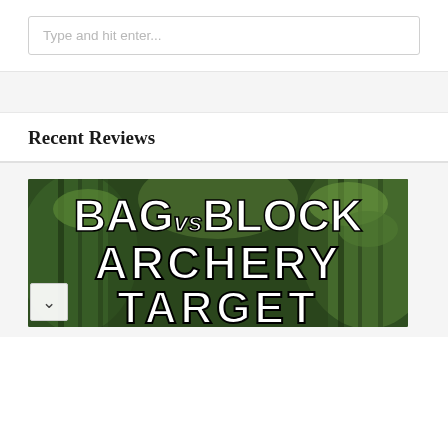Type and hit enter...
Recent Reviews
[Figure (illustration): Banner image for 'Bag vs Block Archery Target' article, showing large bold text overlaid on a forest background with bamboo and trees. Text reads: BAG vs BLOCK ARCHERY TARGET]